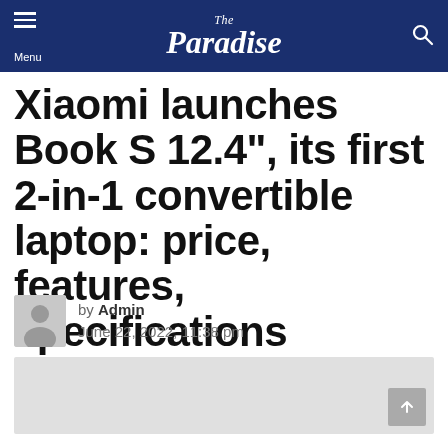The Paradise — Menu / Search header
Xiaomi launches Book S 12.4", its first 2-in-1 convertible laptop: price, features, specifications
by Admin
June 22, 2022, 11:38 pm
[Figure (photo): Gray placeholder image for article content]